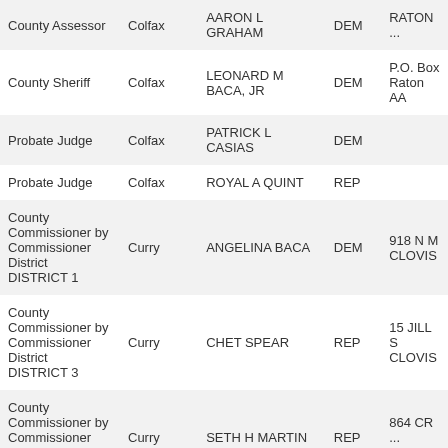| Office | County | Name | Party | Address |
| --- | --- | --- | --- | --- |
| County Assessor | Colfax | AARON L GRAHAM | DEM | RATON ... |
| County Sheriff | Colfax | LEONARD M BACA, JR | DEM | P.O. Box
Raton AA |
| Probate Judge | Colfax | PATRICK L CASIAS | DEM |  |
| Probate Judge | Colfax | ROYAL A QUINT | REP |  |
| County Commissioner by Commissioner District DISTRICT 1 | Curry | ANGELINA BACA | DEM | 918 N M
CLOVIS |
| County Commissioner by Commissioner District DISTRICT 3 | Curry | CHET SPEAR | REP | 15 JILL S
CLOVIS |
| County Commissioner by Commissioner District DISTRICT 4 | Curry | SETH H MARTIN | REP | 864 CR ...
CLOVIS |